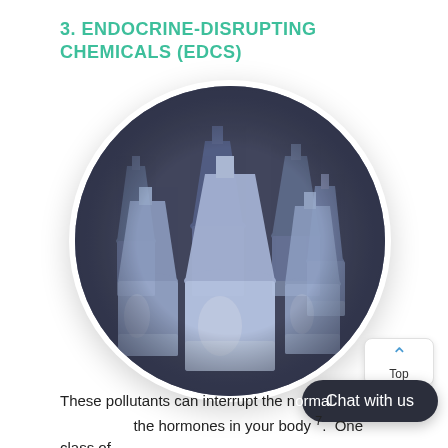3. ENDOCRINE-DISRUPTING CHEMICALS (EDCS)
[Figure (photo): Circular cropped black-and-white photograph of multiple Erlenmeyer glass lab flasks with white liquid, tinted blue-grey, arranged in a cluster on a laboratory bench.]
These pollutants can interrupt the n... the hormones in your body 7. One class of